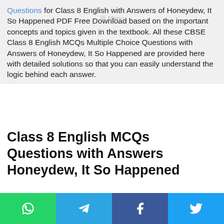Questions for Class 8 English with Answers of Honeydew, It So Happened PDF Free Download based on the important concepts and topics given in the textbook. All these CBSE Class 8 English MCQs Multiple Choice Questions with Answers of Honeydew, It So Happened are provided here with detailed solutions so that you can easily understand the logic behind each answer.
Class 8 English MCQs Questions with Answers Honeydew, It So Happened
Practicing these CBSE NCERT Objective MCQ